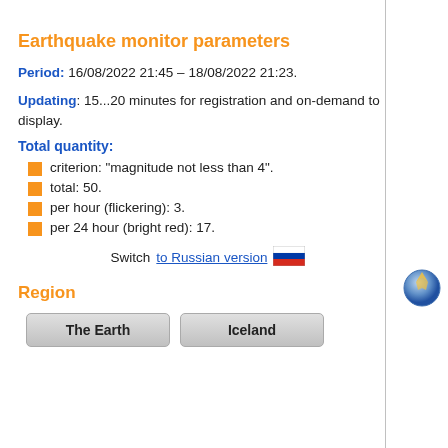Earthquake monitor parameters
Period: 16/08/2022 21:45 – 18/08/2022 21:23.
Updating: 15...20 minutes for registration and on-demand to display.
Total quantity:
criterion: "magnitude not less than 4".
total: 50.
per hour (flickering): 3.
per 24 hour (bright red): 17.
Switch to Russian version
Region
The Earth | Iceland